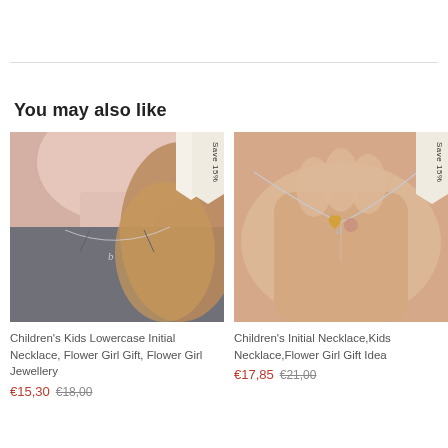You may also like
[Figure (photo): Photo of child wearing a silver lowercase initial necklace, grey shirt, blonde hair. 'Save 15%' badge in top right corner.]
Children's Kids Lowercase Initial Necklace, Flower Girl Gift, Flower Girl Jewellery
€15,30  €18,00
[Figure (photo): Photo of hand holding a silver necklace with letter 'a' initial charm and small heart charm. 'Save 15%' badge in top right corner.]
Children's Initial Necklace,Kids Necklace,Flower Girl Gift Idea
€17,85  €21,00